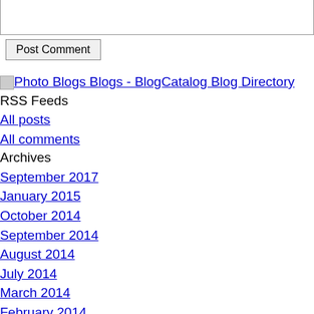[textarea comment input box]
Post Comment
Photo Blogs Blogs - BlogCatalog Blog Directory
RSS Feeds
All posts
All comments
Archives
September 2017
January 2015
October 2014
September 2014
August 2014
July 2014
March 2014
February 2014
December 2013
November 2013
September 2013
August 2013
July 2013
June 2013
May 2013
March 2013